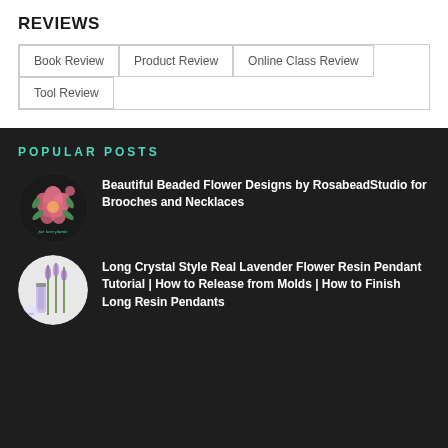REVIEWS
Book Review
Product Review
Online Class Review
Tool Review
POPULAR POSTS
[Figure (illustration): Circular thumbnail image of pink beaded flower on dark background with teal script text 'Tuberia for love plants']
Beautiful Beaded Flower Designs by RosabeadStudio for Brooches and Necklaces
[Figure (photo): Circular thumbnail image of lavender resin pendants on light background]
Long Crystal Style Real Lavender Flower Resin Pendant Tutorial | How to Release from Molds | How to Finish Long Resin Pendants